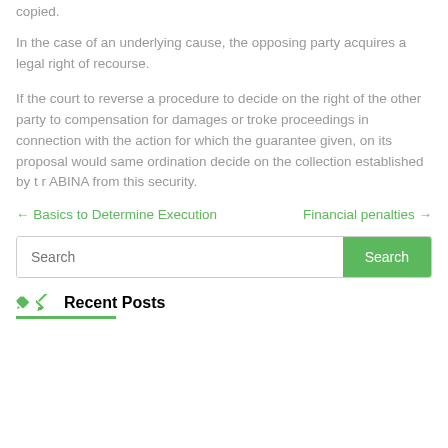copied.
In the case of an underlying cause, the opposing party acquires a legal right of recourse.
If the court to reverse a procedure to decide on the right of the other party to compensation for damages or troke proceedings in connection with the action for which the guarantee given, on its proposal would same ordination decide on the collection established by t r ABINA from this security.
← Basics to Determine Execution    Financial penalties →
Search
Recent Posts